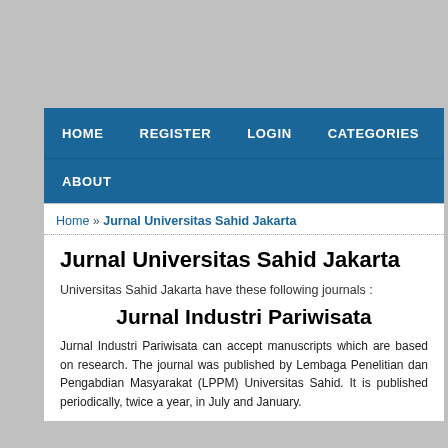HOME   REGISTER   LOGIN   CATEGORIES   SEARCH   ABOUT
Home » Jurnal Universitas Sahid Jakarta
Jurnal Universitas Sahid Jakarta
Universitas Sahid Jakarta have these following journals :
Jurnal Industri Pariwisata
Jurnal Industri Pariwisata can accept manuscripts which are based on research. The journal was published by Lembaga Penelitian dan Pengabdian Masyarakat (LPPM) Universitas Sahid. It is published periodically, twice a year, in July and January.